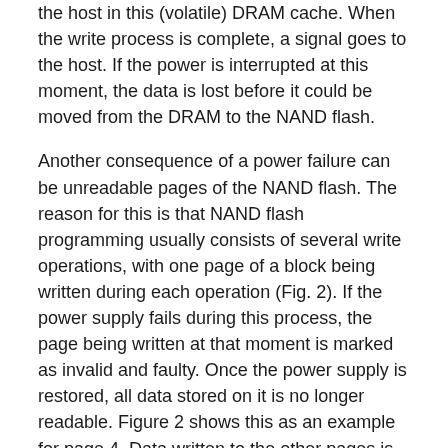the host in this (volatile) DRAM cache. When the write process is complete, a signal goes to the host. If the power is interrupted at this moment, the data is lost before it could be moved from the DRAM to the NAND flash.
Another consequence of a power failure can be unreadable pages of the NAND flash. The reason for this is that NAND flash programming usually consists of several write operations, with one page of a block being written during each operation (Fig. 2). If the power supply fails during this process, the page being written at that moment is marked as invalid and faulty. Once the power supply is restored, all data stored on it is no longer readable. Figure 2 shows this as an example for page 4. Data written to the other pages is not affected because it was already written to the flash chips when the power failure happened.